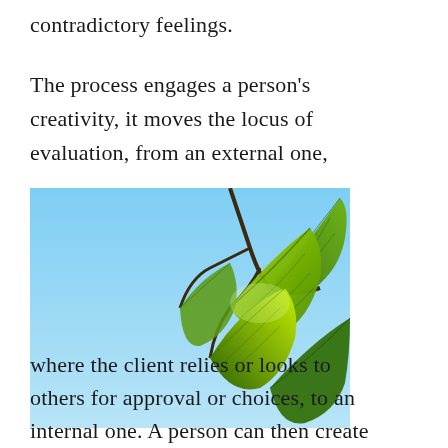contradictory feelings.
The process engages a person's creativity, it moves the locus of evaluation, from an external one,
[Figure (photo): Close-up photo of bright green leaves against a light blue sky, with sun shining through the leaves.]
where the client relies or looks to others for approval or choices, to an internal one. A person can then create